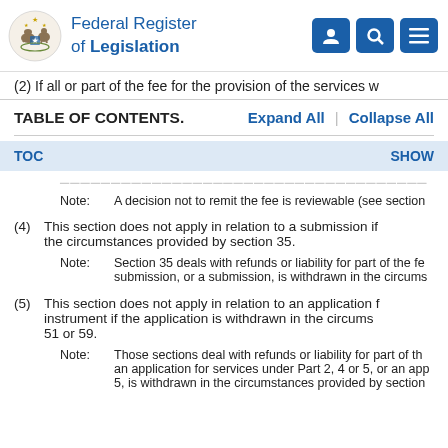Federal Register of Legislation
(2)  If all or part of the fee for the provision of the services w
TABLE OF CONTENTS.    Expand All  |  Collapse All
TOC    SHOW
Note:   A decision not to remit the fee is reviewable (see section
(4)  This section does not apply in relation to a submission if the circumstances provided by section 35.
Note:   Section 35 deals with refunds or liability for part of the fe submission, or a submission, is withdrawn in the circums
(5)  This section does not apply in relation to an application f instrument if the application is withdrawn in the circums 51 or 59.
Note:   Those sections deal with refunds or liability for part of th an application for services under Part 2, 4 or 5, or an app 5, is withdrawn in the circumstances provided by section